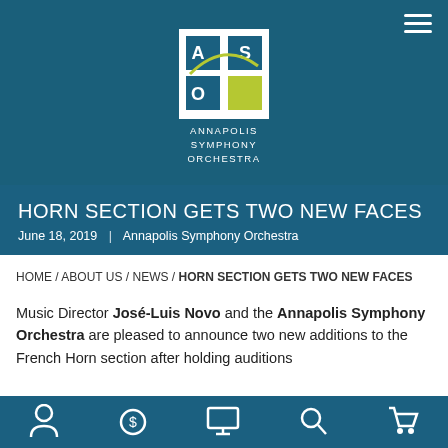[Figure (logo): Annapolis Symphony Orchestra logo with ASO letters and green arc, white background, with text ANNAPOLIS SYMPHONY ORCHESTRA below]
HORN SECTION GETS TWO NEW FACES
June 18, 2019  |  Annapolis Symphony Orchestra
HOME / ABOUT US / NEWS / HORN SECTION GETS TWO NEW FACES
Music Director José-Luis Novo and the Annapolis Symphony Orchestra are pleased to announce two new additions to the French Horn section after holding auditions